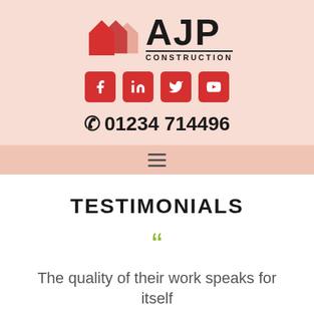[Figure (logo): AJP Construction logo with stylized house icons in red and salmon/pink, bold AJP text with CONSTRUCTION below underlined]
[Figure (infographic): Row of four red social media icon buttons: Facebook (f), LinkedIn (in), Twitter bird, YouTube play button]
☎ 01234 714496
[Figure (infographic): Hamburger menu icon (three horizontal lines)]
TESTIMONIALS
The quality of their work speaks for itself